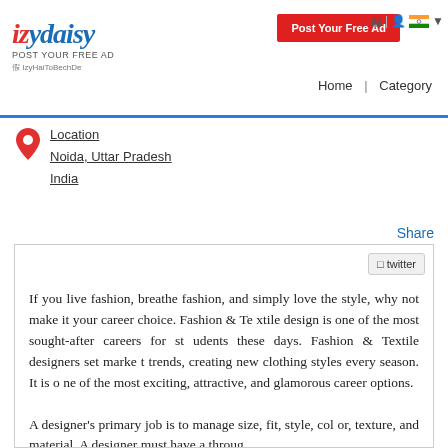izydaisy | Post Your Free Ad | IzyHaiToBechDe | Home | Category
Location
Noida, Uttar Pradesh
India
Share
twitter
If you live fashion, breathe fashion, and simply love the style, why not make it your career choice. Fashion & Textile design is one of the most sought-after careers for students these days. Fashion & Textile designers set market trends, creating new clothing styles every season. It is one of the most exciting, attractive, and glamorous career options.

A designer's primary job is to manage size, fit, style, color, texture, and material. A designer must have a throug